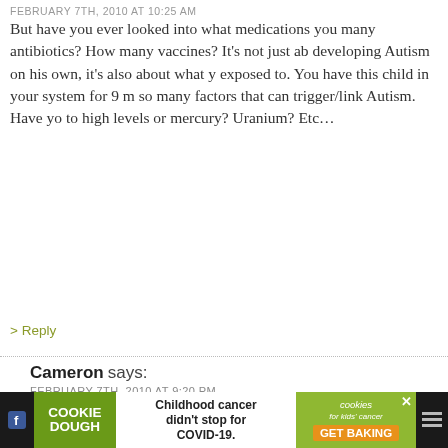FEBRUARY 7TH, 2010 AT 10:25 AM
But have you ever looked into what medications you many antibiotics? How many vaccines? It’s not just about developing Autism on his own, it’s also about what y exposed to. You have this child in your system for 9 m so many factors that can trigger/link Autism. Have yo to high levels or mercury? Uranium? Etc…
> Reply
Cameron says: FEBRUARY 7TH, 2010 AT 9:20 PM
Sometimes children are born with conditions that do with their mother’s choices, behaviors, environm Autism may not be something that is done to a neu may simply be the way an autistic child’s genes con regardless of mom’s medical/social/environmental Blaming/shaming the mother is a dreadful past-tim with a long and vile history rooted in ancient suspi
[Figure (infographic): Cookie Dough advertisement banner: 'Childhood cancer didn't stop for COVID-19. GET BAKING' with cookies for kids' cancer logo]